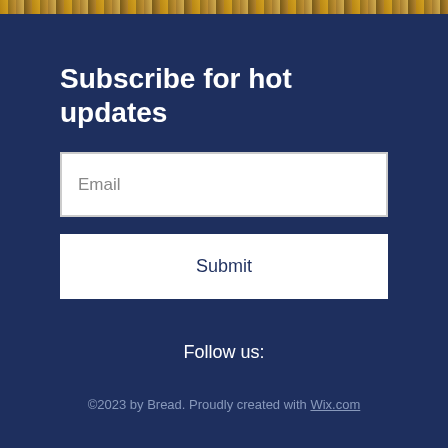[Figure (photo): Narrow strip of bread/baked goods photo at top of page]
Subscribe for hot updates
Email
Submit
Follow us:
©2023 by Bread. Proudly created with Wix.com